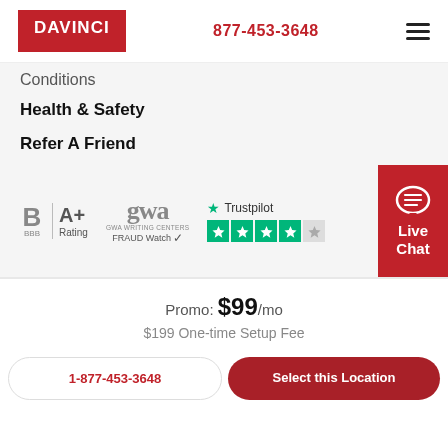DAVINCI  877-453-3648
Conditions
Health & Safety
Refer A Friend
[Figure (logo): BBB A+ Rating badge, GWA Fraud Watch badge, Trustpilot 4-star rating badge, and Live Chat button]
Promo: $99/mo
$199 One-time Setup Fee
1-877-453-3648  |  Select this Location